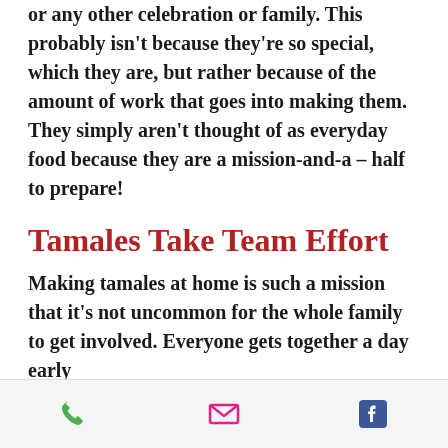or any other celebration or family. This probably isn't because they're so special, which they are, but rather because of the amount of work that goes into making them. They simply aren't thought of as everyday food because they are a mission-and-a – half to prepare!
Tamales Take Team Effort
Making tamales at home is such a mission that it's not uncommon for the whole family to get involved. Everyone gets together a day early
phone | email | facebook